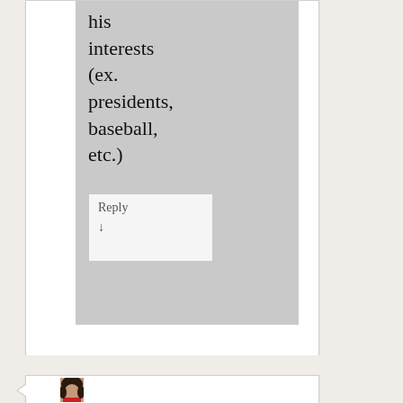his interests (ex. presidents, baseball, etc.)
Reply ↓
[Figure (photo): A woman with dark curly hair wearing a red top, partial view at bottom of page]